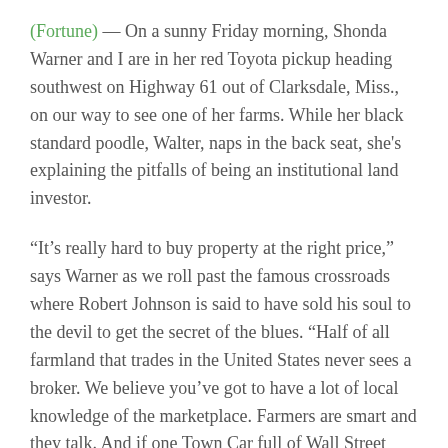(Fortune) — On a sunny Friday morning, Shonda Warner and I are in her red Toyota pickup heading southwest on Highway 61 out of Clarksdale, Miss., on our way to see one of her farms. While her black standard poodle, Walter, naps in the back seat, she's explaining the pitfalls of being an institutional land investor.
“It’s really hard to buy property at the right price,” says Warner as we roll past the famous crossroads where Robert Johnson is said to have sold his soul to the devil to get the secret of the blues. “Half of all farmland that trades in the United States never sees a broker. We believe you’ve got to have a lot of local knowledge of the marketplace. Farmers are smart and they talk. And if one Town Car full of Wall Street types rolls into town and makes a bid